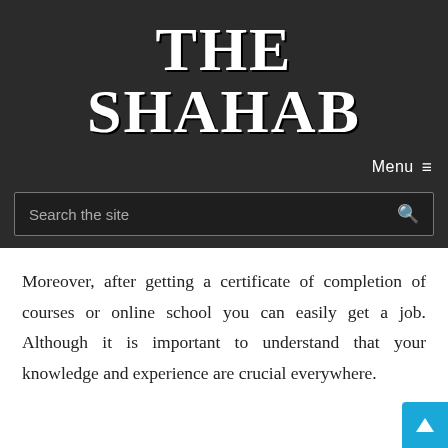THE SHAHAB
Menu ≡
[Figure (other): Search bar with placeholder text 'Search the site' and a magnifying glass icon]
Moreover, after getting a certificate of completion of courses or online school you can easily get a job. Although it is important to understand that your knowledge and experience are crucial everywhere.